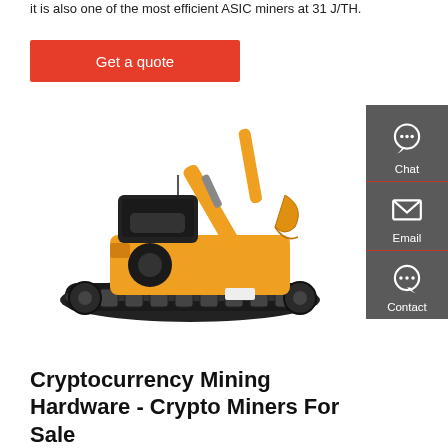it is also one of the most efficient ASIC miners at 31 J/TH.
Get a quote
[Figure (photo): Orange and black mini excavator/crawler excavator on white background]
[Figure (infographic): Sidebar with Chat, Email, and Contact icons on dark grey background]
Cryptocurrency Mining Hardware - Crypto Miners For Sale